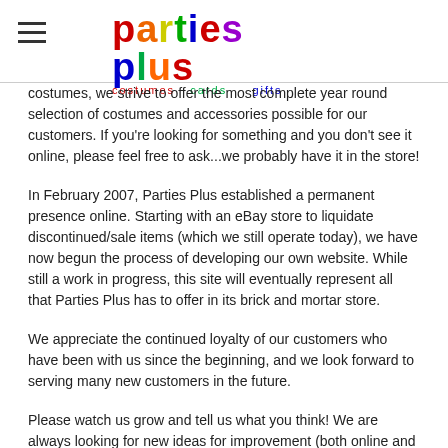parties plus — costumes cards gifts
costumes, we strive to offer the most complete year round selection of costumes and accessories possible for our customers. If you're looking for something and you don't see it online, please feel free to ask...we probably have it in the store!
In February 2007, Parties Plus established a permanent presence online. Starting with an eBay store to liquidate discontinued/sale items (which we still operate today), we have now begun the process of developing our own website. While still a work in progress, this site will eventually represent all that Parties Plus has to offer in its brick and mortar store.
We appreciate the continued loyalty of our customers who have been with us since the beginning, and we look forward to serving many new customers in the future.
Please watch us grow and tell us what you think! We are always looking for new ideas for improvement (both online and in store). Just send us an email!